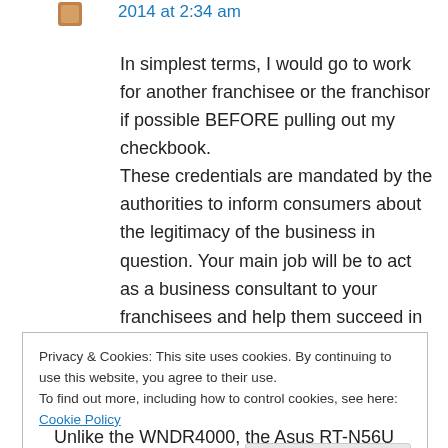2014 at 2:34 am
In simplest terms, I would go to work for another franchisee or the franchisor if possible BEFORE pulling out my checkbook. These credentials are mandated by the authorities to inform consumers about the legitimacy of the business in question. Your main job will be to act as a business consultant to your franchisees and help them succeed in their own business.
Privacy & Cookies: This site uses cookies. By continuing to use this website, you agree to their use.
To find out more, including how to control cookies, see here: Cookie Policy
Close and accept
Unlike the WNDR4000, the Asus RT-N56U...